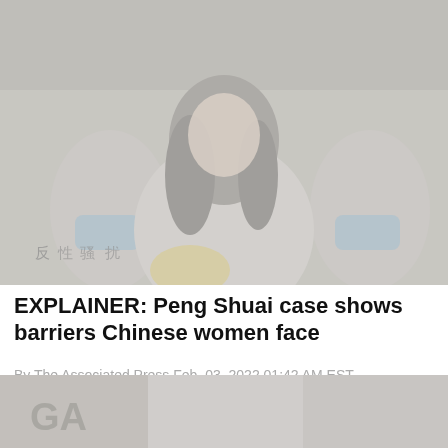[Figure (photo): Faded/washed-out photograph of a woman with long black hair holding yellow flowers, standing in front of others wearing blue medical masks. Chinese characters visible on signs in the background. Appears to be a protest scene.]
EXPLAINER: Peng Shuai case shows barriers Chinese women face
By The Associated Press Feb. 03, 2022 01:42 AM EST
[Figure (photo): Partial/cropped photo at bottom of page showing partial text 'GA' and other figures, faded appearance.]